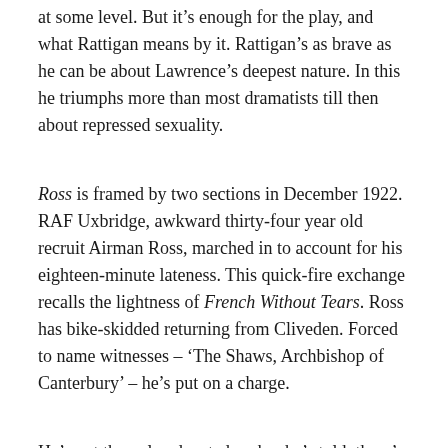at some level. But it's enough for the play, and what Rattigan means by it. Rattigan's as brave as he can be about Lawrence's deepest nature. In this he triumphs more than most dramatists till then about repressed sexuality.
Ross is framed by two sections in December 1922. RAF Uxbridge, awkward thirty-four year old recruit Airman Ross, marched in to account for his eighteen-minute lateness. This quick-fire exchange recalls the lightness of French Without Tears. Ross has bike-skidded returning from Cliveden. Forced to name witnesses – 'The Shaws, Archbishop of Canterbury' – he's put on a charge.
He's not the only educated ranker he's told, there's Dickinson, a fallen Guards Captain, in line for